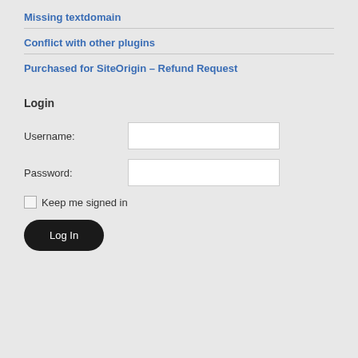Missing textdomain
Conflict with other plugins
Purchased for SiteOrigin – Refund Request
Login
Username:
Password:
Keep me signed in
Log In